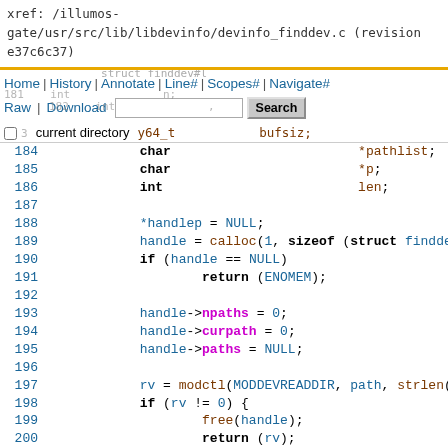xref: /illumos-gate/usr/src/lib/libdevinfo/devinfo_finddev.c (revision e37c6c37)
Navigation bar with Home | History | Annotate | Line# | Scopes# | Navigate# | Raw | Download | Search | current directory checkbox
[Figure (screenshot): Source code viewer showing C code lines 181-205 from devinfo_finddev.c]
Code lines 181-205 showing variable declarations and function body with handle allocation, modctl call, and for loop